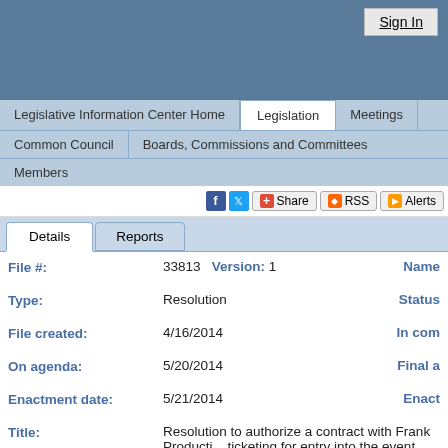Sign In
Legislative Information Center Home | Legislation | Meetings
Common Council | Boards, Commissions and Committees
Members
f | tw | Share | RSS | Alerts
Details | Reports
| Field | Value | Extra |
| --- | --- | --- |
| File #: | 33813   Version: 1 | Name |
| Type: | Resolution | Status |
| File created: | 4/16/2014 | In com |
| On agenda: | 5/20/2014 | Final a |
| Enactment date: | 5/21/2014 | Enact |
| Title: | Resolution to authorize a contract with Frank Producti... ticketing for entry into the event area. |  |
| Sponsors: | Paul R. Soglin, Chris Schmidt, Scott J. Resnick, Mich... |  |
History (4)   Text